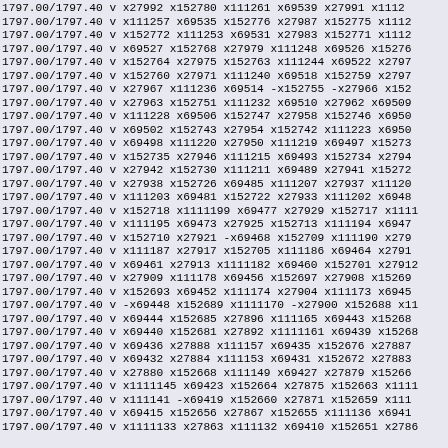1797.00/1797.40 v x27992 x152780 x111261 x69539 x27991 x1112
1797.00/1797.40 v x111257 x69535 x152776 x27987 x152775 x1112
1797.00/1797.40 v x152772 x111253 x69531 x27983 x152771 x1112
1797.00/1797.40 v x69527 x152768 x27979 x111248 x69526 x15276
1797.00/1797.40 v x152764 x27975 x152763 x111244 x69522 x2797
1797.00/1797.40 v x152760 x27971 x111240 x69518 x152759 x2797
1797.00/1797.40 v x27967 x111236 x69514 -x152755 -x27966 x152
1797.00/1797.40 v x27963 x152751 x111232 x69510 x27962 x69509
1797.00/1797.40 v x111228 x69506 x152747 x27958 x152746 x6950
1797.00/1797.40 v x69502 x152743 x27954 x152742 x111223 x6950
1797.00/1797.40 v x69498 x111220 x27950 x111219 x69497 x15273
1797.00/1797.40 v x152735 x27946 x111215 x69493 x152734 x2794
1797.00/1797.40 v x27942 x152730 x111211 x69489 x27941 x15272
1797.00/1797.40 v x27938 x152726 x69485 x111207 x27937 x11120
1797.00/1797.40 v x111203 x69481 x152722 x27933 x111202 x6948
1797.00/1797.40 v x152718 x1111199 x69477 x27929 x152717 x1111
1797.00/1797.40 v x111195 x69473 x27925 x152713 x111194 x6947
1797.00/1797.40 v x152710 x27921 -x69468 x152709 x111190 x279
1797.00/1797.40 v x111187 x27917 x152705 x111186 x69464 x2791
1797.00/1797.40 v x69461 x27913 x1111182 x69460 x152701 x27912
1797.00/1797.40 v x27909 x111178 x69456 x152697 x27908 x15269
1797.00/1797.40 v x152693 x69452 x111174 x27904 x111173 x6945
1797.00/1797.40 v -x69448 x152689 x1111170 -x27900 x152688 x11
1797.00/1797.40 v x69444 x152685 x27896 x111165 x69443 x15268
1797.00/1797.40 v x69440 x152681 x27892 x1111161 x69439 x15268
1797.00/1797.40 v x69436 x27888 x111157 x69435 x152676 x27887
1797.00/1797.40 v x69432 x27884 x111153 x69431 x152672 x27883
1797.00/1797.40 v x27880 x152668 x111149 x69427 x27879 x15266
1797.00/1797.40 v x1111145 x69423 x152664 x27875 x152663 x1111
1797.00/1797.40 v x111141 -x69419 x152660 x27871 x152659 x111
1797.00/1797.40 v x69415 x152656 x27867 x152655 x111136 x6941
1797.00/1797.40 v x1111133 x27863 x111132 x69410 x152651 x2786